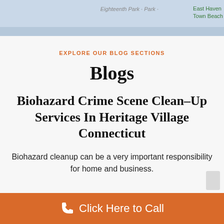[Figure (map): Partial map screenshot showing coastal area with East Haven Town Beach label and road overlay]
EXPLORE OUR BLOG SECTIONS
Blogs
Biohazard Crime Scene Clean–Up Services In Heritage Village Connecticut
Biohazard cleanup can be a very important responsibility for home and business.
[Figure (other): Orange call-to-action bar with phone icon and text: Click Here to Call]